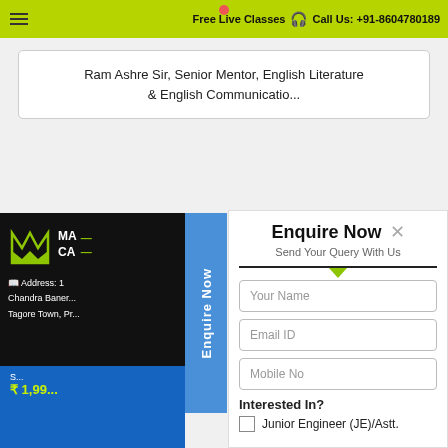Free Live Classes  Call Us: +91-8604780189
Ram Ashre Sir, Senior Mentor, English Literature & English Communicatio...
Address: 1 Chandra Baner... Tagore Town, Pr...
₹ 1,99...
Enquire Now
Enquire Now ×
Send Your Query With Us
Your Name
Email ID
Mobile No
Interested In?
Junior Engineer (JE)/Astt.